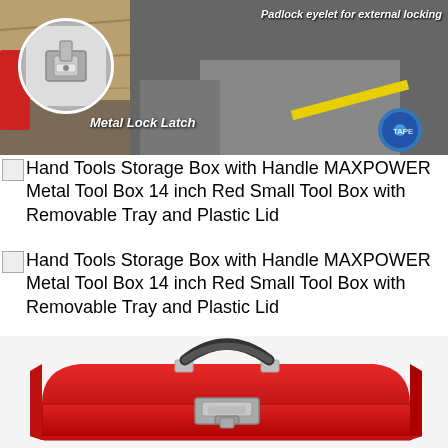[Figure (photo): Close-up photo showing a red metal toolbox with a metal lock latch detail in a circular inset on the left, and a padlock eyelet for external locking labeled on the right side. A blue tape measure is visible in the bottom right corner.]
Padlock eyelet for external locking
Metal Lock Latch
Hand Tools Storage Box with Handle MAXPOWER Metal Tool Box 14 inch Red Small Tool Box with Removable Tray and Plastic Lid
Hand Tools Storage Box with Handle MAXPOWER Metal Tool Box 14 inch Red Small Tool Box with Removable Tray and Plastic Lid
[Figure (photo): Red metal tool box with black rubber handle on top, silver metal latch in the center front, and silver handle brackets. The toolbox is elongated and rectangular with a curved lid.]